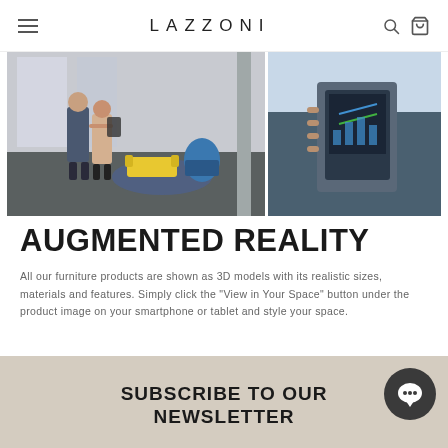LAZZONI
[Figure (photo): Two people looking at furniture in augmented reality in a showroom (left), and a person holding a tablet displaying AR furniture content (right).]
AUGMENTED REALITY
All our furniture products are shown as 3D models with its realistic sizes, materials and features. Simply click the "View in Your Space" button under the product image on your smartphone or tablet and style your space.
SUBSCRIBE TO OUR NEWSLETTER